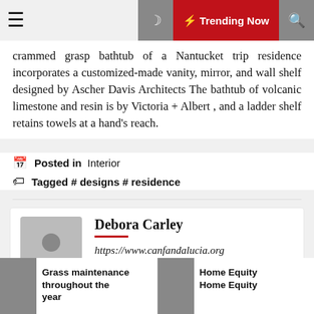☰  🌙  ⚡ Trending Now  🔍
crammed grasp bathtub of a Nantucket trip residence incorporates a customized-made vanity, mirror, and wall shelf designed by Ascher Davis Architects The bathtub of volcanic limestone and resin is by Victoria + Albert , and a ladder shelf retains towels at a hand's reach.
📅 Posted in  Interior
🏷 Tagged # designs # residence
Debora Carley
https://www.canfandalucia.org
Grass maintenance throughout the year
Home Equity Home Equity